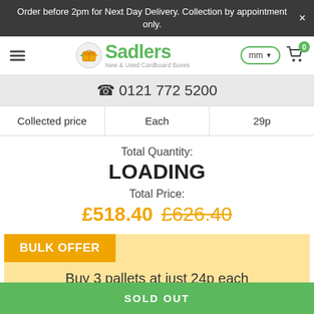Order before 2pm for Next Day Delivery. Collection by appointment only.
[Figure (logo): Sadlers New & Used Cardboard Boxes logo with box icon]
0121 772 5200
| Collected price | Each | 29p |
| --- | --- | --- |
Total Quantity:
LOADING
Total Price:
£518.40 £626.40
BULK OFFER
Buy 3 pallets at just 24p each
SOLD OUT